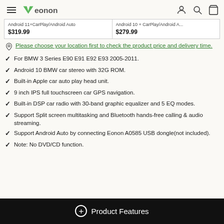Eonon navigation bar with logo and icons
Android 11+CarPlay/Android Auto $319.99 | Android 10 + CarPlay/Android A... $279.99
Please choose your location first to check the product price and delivery time.
For BMW 3 Series E90 E91 E92 E93 2005-2011.
Android 10 BMW car stereo with 32G ROM.
Built-in Apple car auto play head unit.
9 inch IPS full touchscreen car GPS navigation.
Built-in DSP car radio with 30-band graphic equalizer and 5 EQ modes.
Support Split screen multitasking and Bluetooth hands-free calling & audio streaming.
Support Android Auto by connecting Eonon A0585 USB dongle(not included).
Note: No DVD/CD function.
Product Features